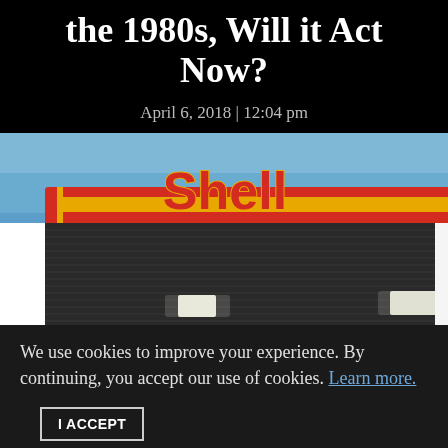the 1980s, Will it Act Now?
April 6, 2018 | 12:04 pm
[Figure (photo): Photograph of a Shell gas station sign illuminated in red and yellow against a blue sky, showing the lower portion of the sign canopy with interior lighting visible below.]
We use cookies to improve your experience. By continuing, you accept our use of cookies. Learn more.
I ACCEPT